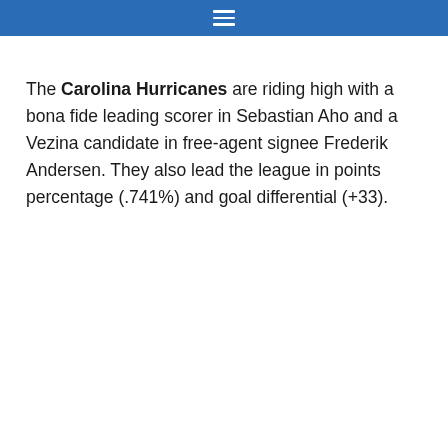navigation menu bar
The Carolina Hurricanes are riding high with a bona fide leading scorer in Sebastian Aho and a Vezina candidate in free-agent signee Frederik Andersen. They also lead the league in points percentage (.741%) and goal differential (+33).